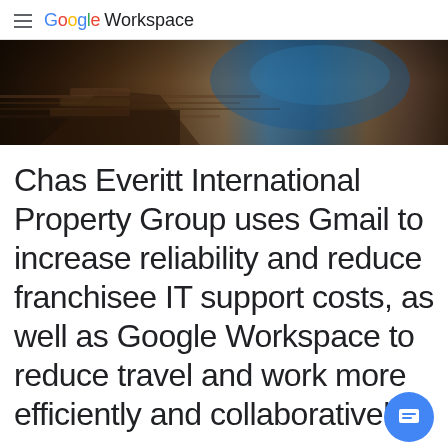Google Workspace
[Figure (photo): Dark interior photo showing a modern room with wooden surfaces, stairs or ramps, and a blue-lit background]
Chas Everitt International Property Group uses Gmail to increase reliability and reduce franchisee IT support costs, as well as Google Workspace to reduce travel and work more efficiently and collaboratively.